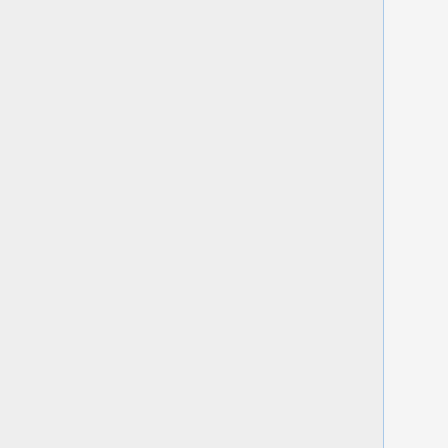Gate • The Frogmoors • Golfimbul's Hole • The Grange • The Great Willow • Lob's Grove • Longo Burrow's Farm • The Mathom House • Methel-stage • Narrowcleeve • Old Odo's Leaf-farm • Overhill Yards • The Party Tree • Pinglade • Puddifoot's Fields • The Quarry • The Rushock Gate • Sandson's